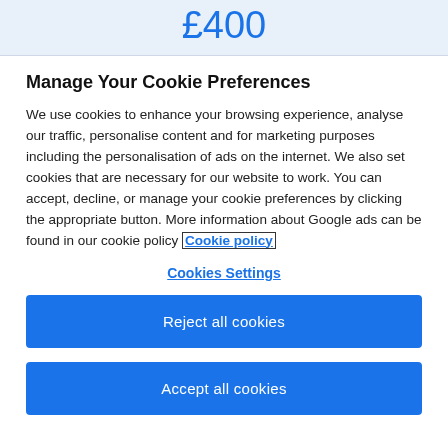£400
Manage Your Cookie Preferences
We use cookies to enhance your browsing experience, analyse our traffic, personalise content and for marketing purposes including the personalisation of ads on the internet. We also set cookies that are necessary for our website to work. You can accept, decline, or manage your cookie preferences by clicking the appropriate button. More information about Google ads can be found in our cookie policy Cookie policy
Cookies Settings
Reject all cookies
Accept all cookies